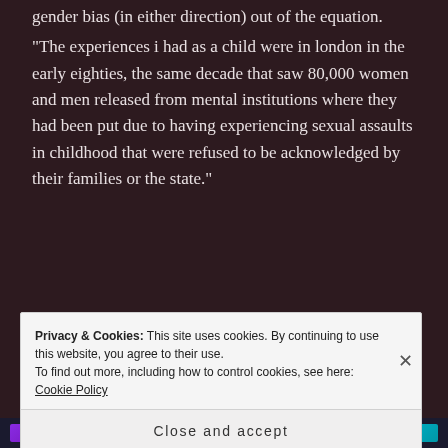gender bias (in either direction) out of the equation.

"The experiences i had as a child were in london in the early eighties, the same decade that saw 80,000 women and men released from mental institutions where they had been put due to having experiencing sexual assaults in childhood that were refused to be acknowledged by their families or the state."
Privacy & Cookies: This site uses cookies. By continuing to use this website, you agree to their use.
To find out more, including how to control cookies, see here: Cookie Policy
Close and accept